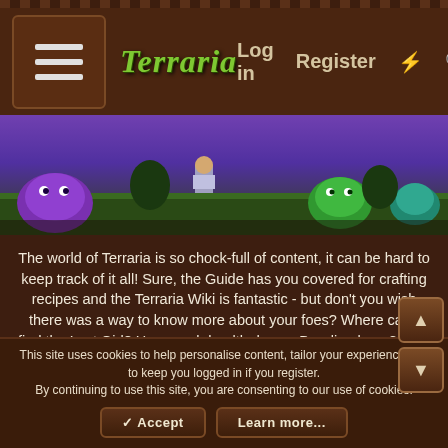Terraria | Log in | Register
[Figure (screenshot): Terraria game screenshot showing slimes and character on green terrain with purple/blue sky]
The world of Terraria is so chock-full of content, it can be hard to keep track of it all! Sure, the Guide has you covered for crafting recipes and the Terraria Wiki is fantastic - but don't you wish there was a way to know more about your foes? Where can I find the Lost Girl? How much health does a Derpling have? How many coins can I get from farming Jellyfish? Wonder no more, for the Terraria Bestiary is here!
As you defeat foes, you will learn more and more about them - key stats, locations, drop rates, background info and more!
This site uses cookies to help personalise content, tailor your experience and to keep you logged in if you register.
By continuing to use this site, you are consenting to our use of cookies.